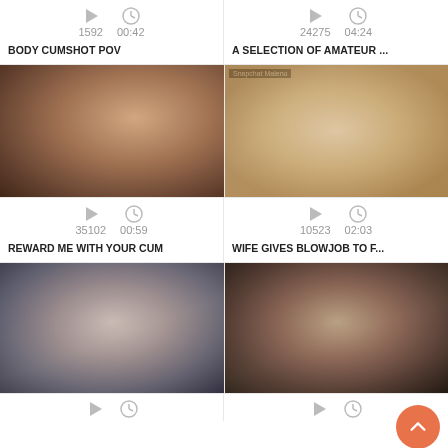1592   00:42
24275   04:24
BODY CUMSHOT POV
A SELECTION OF AMATEUR ...
[Figure (photo): Close-up photo thumbnail]
[Figure (photo): Photo thumbnail with Snapchat Maleno watermark]
35102   00:59
10523   02:03
REWARD ME WITH YOUR CUM
WIFE GIVES BLOWJOB TO F...
[Figure (photo): Photo thumbnail blurry close-up]
[Figure (photo): Photo thumbnail close-up face]